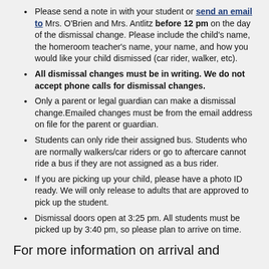Please send a note in with your student or send an email to Mrs. O'Brien and Mrs. Antlitz before 12 pm on the day of the dismissal change. Please include the child's name, the homeroom teacher's name, your name, and how you would like your child dismissed (car rider, walker, etc).
All dismissal changes must be in writing. We do not accept phone calls for dismissal changes.
Only a parent or legal guardian can make a dismissal change.Emailed changes must be from the email address on file for the parent or guardian.
Students can only ride their assigned bus. Students who are normally walkers/car riders or go to aftercare cannot ride a bus if they are not assigned as a bus rider.
If you are picking up your child, please have a photo ID ready. We will only release to adults that are approved to pick up the student.
Dismissal doors open at 3:25 pm. All students must be picked up by 3:40 pm, so please plan to arrive on time.
For more information on arrival and